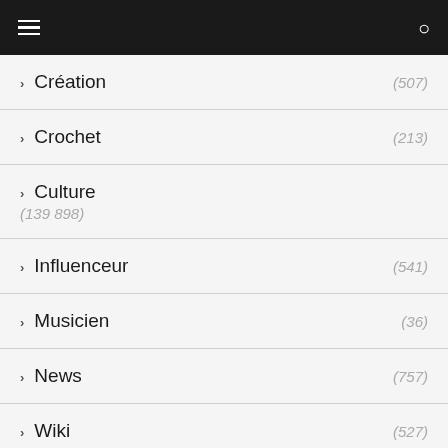Navigation menu header
Création (507)
Crochet (213)
Culture (139 898)
Influenceur (541)
Musicien (36)
News (757)
Wiki (527)